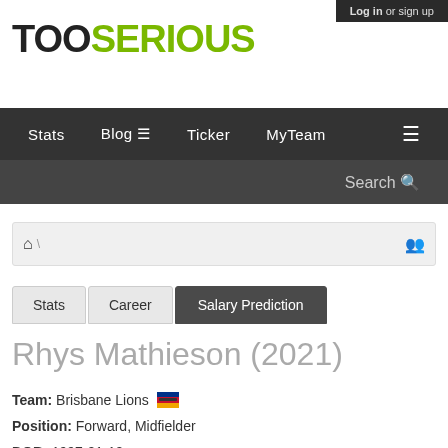Log in or sign up
TOOSERIOUS
Stats | Blog | Ticker | MyTeam
Search
home > org
Stats | Career | Salary Prediction
Rhys Mathieson (2021)
Team: Brisbane Lions
Position: Forward, Midfielder
DOB: 1997-01-10